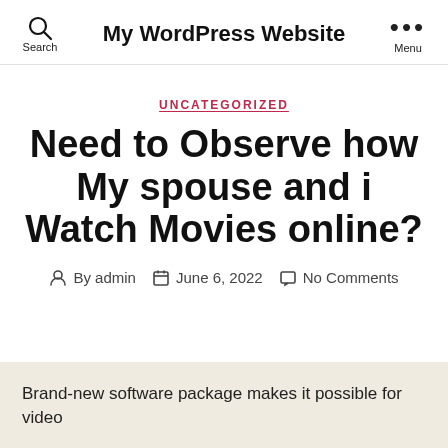My WordPress Website
UNCATEGORIZED
Need to Observe how My spouse and i Watch Movies online?
By admin   June 6, 2022   No Comments
Brand-new software package makes it possible for video